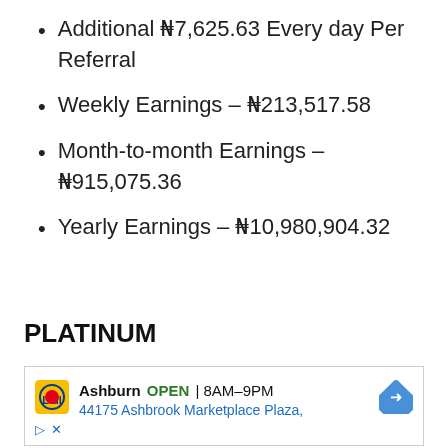Additional ₦7,625.63 Every day Per Referral
Weekly Earnings – ₦213,517.58
Month-to-month Earnings – ₦915,075.36
Yearly Earnings – ₦10,980,904.32
PLATINUM
[Figure (other): Advertisement banner showing Lidl store in Ashburn, OPEN 8AM-9PM, 44175 Ashbrook Marketplace Plaza, with navigation arrow icon]